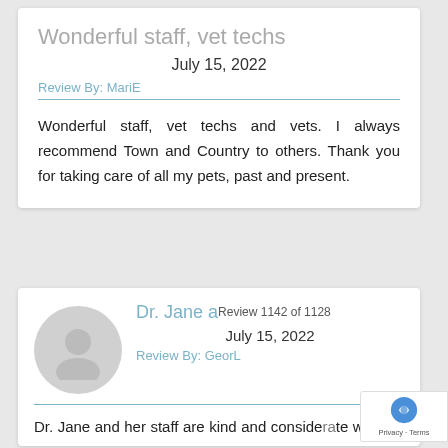Wonderful staff, vet techs
July 15, 2022
Review By: MariE
Wonderful staff, vet techs and vets. I always recommend Town and Country to others. Thank you for taking care of all my pets, past and present.
Dr. Jane and her staff
Review 1142 of 1128
July 15, 2022
Review By: GeorL
Dr. Jane and her staff are kind and considerate with my dogs. They are thorough a...